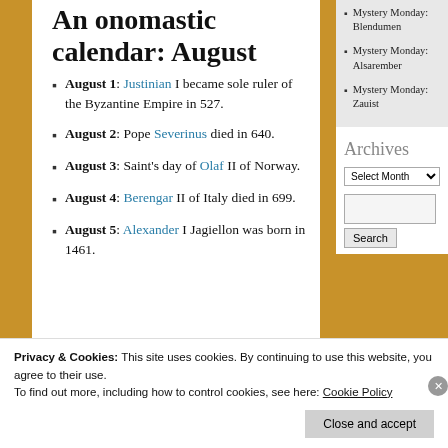An onomastic calendar: August
August 1: Justinian I became sole ruler of the Byzantine Empire in 527.
August 2: Pope Severinus died in 640.
August 3: Saint's day of Olaf II of Norway.
August 4: Berengar II of Italy died in 699.
August 5: Alexander I Jagiellon was born in 1461.
Mystery Monday: Blendumen
Mystery Monday: Alsarember
Mystery Monday: Zauist
Archives
Privacy & Cookies: This site uses cookies. By continuing to use this website, you agree to their use.
To find out more, including how to control cookies, see here: Cookie Policy